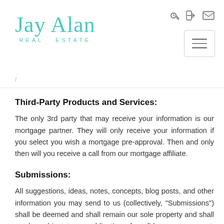[Figure (logo): Jay Alan Real Estate logo in teal cursive script with 'REAL ESTATE' in teal sans-serif below]
/ ...
Third-Party Products and Services:
The only 3rd party that may receive your information is our mortgage partner. They will only receive your information if you select you wish a mortgage pre-approval. Then and only then will you receive a call from our mortgage affiliate.
Submissions:
All suggestions, ideas, notes, concepts, blog posts, and other information you may send to us (collectively, "Submissions") shall be deemed and shall remain our sole property and shall not be subject to any obligation of confidence on our part. Without limiting the foregoing, we shall be deemed to own all known and